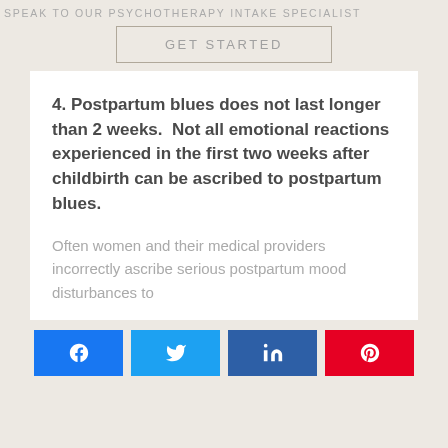SPEAK TO OUR PSYCHOTHERAPY INTAKE SPECIALIST
GET STARTED
4. Postpartum blues does not last longer than 2 weeks.  Not all emotional reactions experienced in the first two weeks after childbirth can be ascribed to postpartum blues.
Often women and their medical providers incorrectly ascribe serious postpartum mood disturbances to